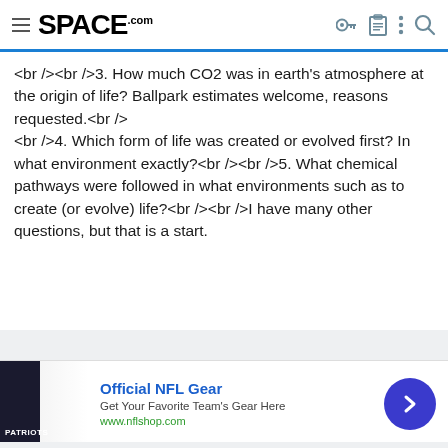SPACE.com
<br /><br />3. How much CO2 was in earth's atmosphere at the origin of life? Ballpark estimates welcome, reasons requested.<br /><br />4. Which form of life was created or evolved first? In what environment exactly?<br /><br />5. What chemical pathways were followed in what environments such as to create (or evolve) life?<br /><br />I have many other questions, but that is a start.
[Figure (other): Advertisement banner for Official NFL Gear showing football jerseys, with link to www.nflshop.com and a circular blue arrow button]